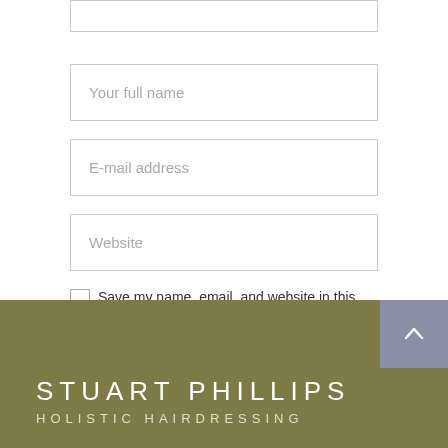[Figure (screenshot): Web form with input fields for full name, email address, website, a checkbox to save info, and a submit button, followed by a footer with Stuart Phillips Holistic Hairdressing logo]
Your full name
E-mail address
Website
Save my name, email, and website in this browser for the next time I comment.
SUBMIT
STUART PHILLIPS
HOLISTIC HAIRDRESSING